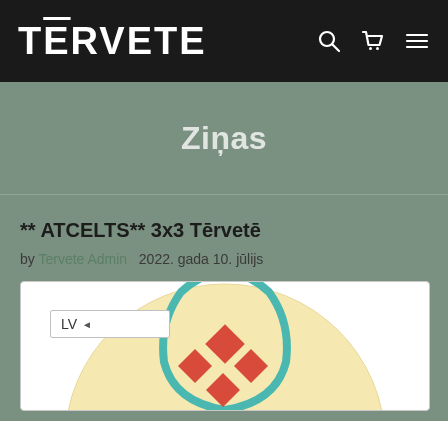TĒRVETE
Ziņas
** ATCELTS** 3x3 Tērvetē
by Tervete Admin   2022. gada 10. jūlijs
[Figure (illustration): Decorative illustration with teal/turquoise outline shape and red diamond patterns on a yellow/cream circular background, partially visible at bottom of page]